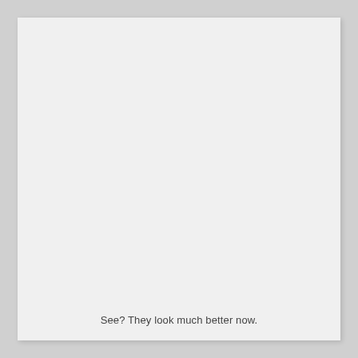See? They look much better now.